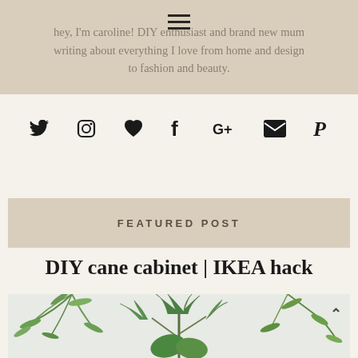hey, I'm caroline! DIY enthusiast and brand new mum writing about everything I love from home and design to fashion and beauty.
[Figure (other): Row of social media icons: Twitter, Instagram, heart/Bloglovin, Facebook, Google+, email envelope, Pinterest]
FEATURED POST
DIY cane cabinet | IKEA hack
[Figure (photo): Photo of green indoor plants including what appears to be a spider plant and a large-leafed plant against a white background]